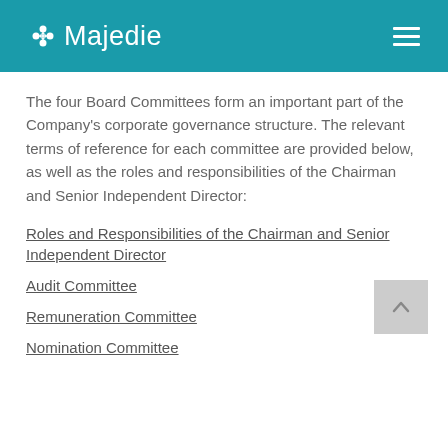Majedie
The four Board Committees form an important part of the Company’s corporate governance structure. The relevant terms of reference for each committee are provided below, as well as the roles and responsibilities of the Chairman and Senior Independent Director:
Roles and Responsibilities of the Chairman and Senior Independent Director
Audit Committee
Remuneration Committee
Nomination Committee